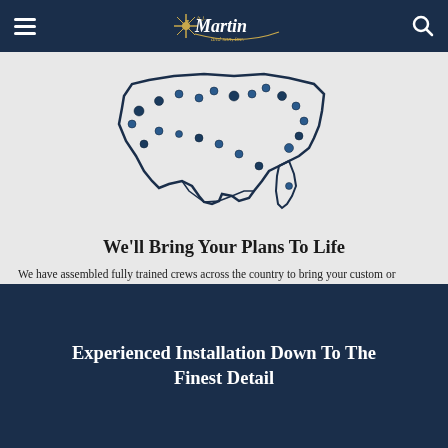h.j. Martin and son, inc. [logo with navigation hamburger menu and search icon]
[Figure (map): A stylized outline map of the United States with dark navy borders and blue/dark dots scattered across various locations indicating company crew locations across the country.]
We'll Bring Your Plans To Life
We have assembled fully trained crews across the country to bring your custom or franchised plans to life. It's the meticulous detail that we bring to every job that makes our Millwork division unique. All work is performed in accordance with AWI installation standards to consistently produce the finest quality.
Experienced Installation Down To The Finest Detail